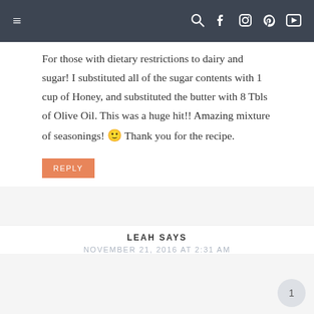≡  [search] [facebook] [instagram] [pinterest] [youtube]
For those with dietary restrictions to dairy and sugar! I substituted all of the sugar contents with 1 cup of Honey, and substituted the butter with 8 Tbls of Olive Oil. This was a huge hit!! Amazing mixture of seasonings! 🙂 Thank you for the recipe.
REPLY
LEAH SAYS
NOVEMBER 21, 2016 AT 2:31 AM